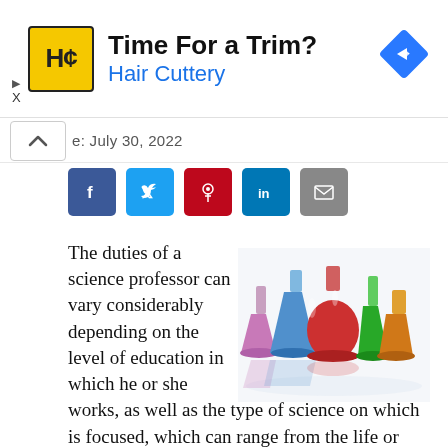[Figure (other): Hair Cuttery advertisement banner with yellow HC logo, 'Time For a Trim?' title, and blue navigation arrow icon]
e: July 30, 2022
[Figure (other): Social media sharing buttons: Facebook (blue), Twitter (blue), Pinterest (red), LinkedIn (blue), Email (grey)]
[Figure (photo): Laboratory glass flasks and beakers filled with colorful liquids: pink/purple, blue, red, green, orange, on white background]
The duties of a science professor can vary considerably depending on the level of education in which he or she works, as well as the type of science on which is focused, which can range from the life or physical sciences to technical fields associated closely with engineering such as computer